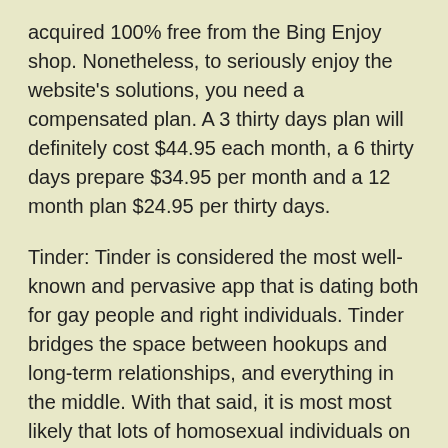acquired 100% free from the Bing Enjoy shop. Nonetheless, to seriously enjoy the website's solutions, you need a compensated plan. A 3 thirty days plan will definitely cost $44.95 each month, a 6 thirty days prepare $34.95 per month and a 12 month plan $24.95 per thirty days.
Tinder: Tinder is considered the most well-known and pervasive app that is dating both for gay people and right individuals. Tinder bridges the space between hookups and long-term relationships, and everything in the middle. With that said, it is most most likely that lots of homosexual individuals on Tinder are merely searching for hookups just consequently they aren't always thinking about something severe. Moreover, age on Tinder has a tendency to skew more youthful therefore the software is just available on mobile phones.